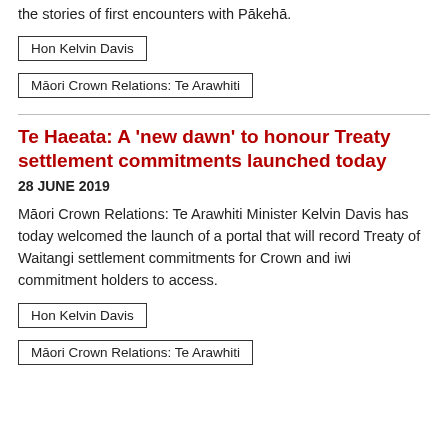the stories of first encounters with Pākehā.
Hon Kelvin Davis
Māori Crown Relations: Te Arawhiti
Te Haeata: A 'new dawn' to honour Treaty settlement commitments launched today
28 JUNE 2019
Māori Crown Relations: Te Arawhiti Minister Kelvin Davis has today welcomed the launch of a portal that will record Treaty of Waitangi settlement commitments for Crown and iwi commitment holders to access.
Hon Kelvin Davis
Māori Crown Relations: Te Arawhiti